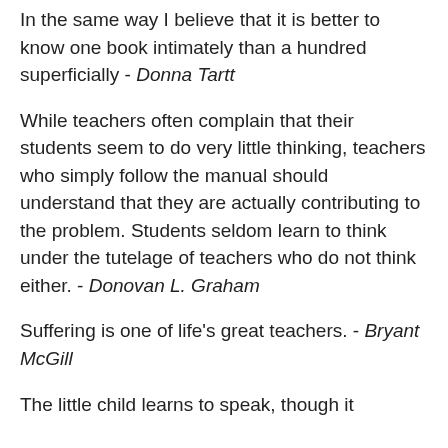In the same way I believe that it is better to know one book intimately than a hundred superficially - Donna Tartt
While teachers often complain that their students seem to do very little thinking, teachers who simply follow the manual should understand that they are actually contributing to the problem. Students seldom learn to think under the tutelage of teachers who do not think either. - Donovan L. Graham
Suffering is one of life's great teachers. - Bryant McGill
The little child learns to speak, though it